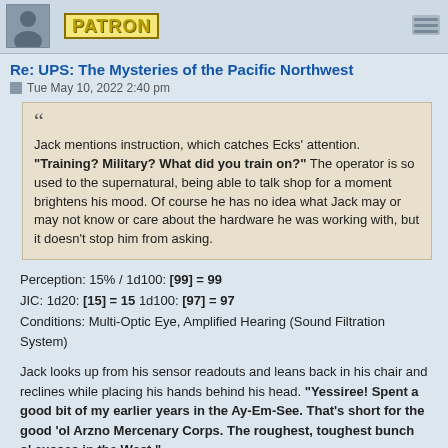PATRON
Re: UPS: The Mysteries of the Pacific Northwest
Tue May 10, 2022 2:40 pm
Jack mentions instruction, which catches Ecks' attention. "Training? Military? What did you train on?" The operator is so used to the supernatural, being able to talk shop for a moment brightens his mood. Of course he has no idea what Jack may or may not know or care about the hardware he was working with, but it doesn't stop him from asking.
Perception: 15% / 1d100: [99] = 99
JIC: 1d20: [15] = 15 1d100: [97] = 97
Conditions: Multi-Optic Eye, Amplified Hearing (Sound Filtration System)
Jack looks up from his sensor readouts and leans back in his chair and reclines while placing his hands behind his head. "Yessiree! Spent a good bit of my earlier years in the Ay-Em-See. That's short for the good 'ol Arzno Mercenary Corps. The roughest, toughest bunch o' cusses in the West."
Jack grins matter-of-factly at Ecks.